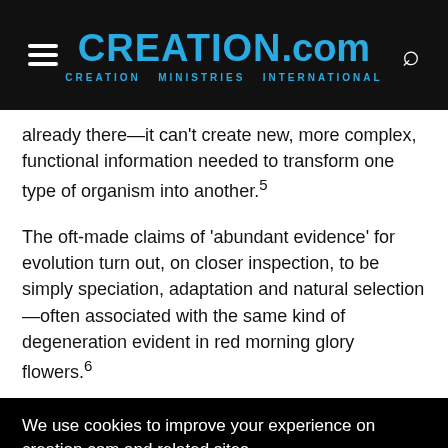CREATION.com | CREATION MINISTRIES INTERNATIONAL
already there—it can't create new, more complex, functional information needed to transform one type of organism into another.5
The oft-made claims of 'abundant evidence' for evolution turn out, on closer inspection, to be simply speciation, adaptation and natural selection—often associated with the same kind of degeneration evident in red morning glory flowers.6
We use cookies to improve your experience on creation.com and related sites. Privacy Policy
Understood
3. See: Adaptation, Creation 14(2):13, 1992,